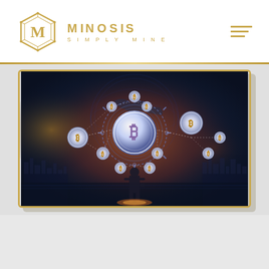MINOSIS SIMPLY MINE
[Figure (illustration): Bitcoin/cryptocurrency blockchain network illustration showing a man in a suit standing before a glowing network of Bitcoin coin nodes connected by dotted lines, with city skyline in background and a large central Bitcoin symbol surrounded by circular rings, dark blue and orange glowing atmosphere]